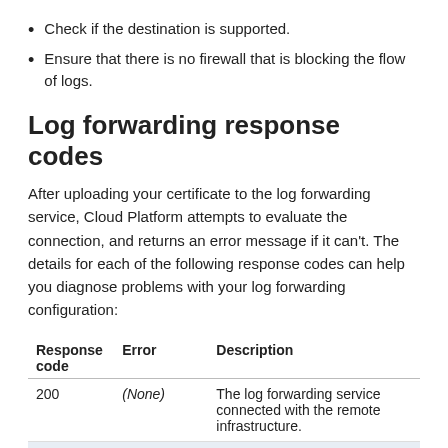Check if the destination is supported.
Ensure that there is no firewall that is blocking the flow of logs.
Log forwarding response codes
After uploading your certificate to the log forwarding service, Cloud Platform attempts to evaluate the connection, and returns an error message if it can't. The details for each of the following response codes can help you diagnose problems with your log forwarding configuration:
| Response code | Error | Description |
| --- | --- | --- |
| 200 | (None) | The log forwarding service connected with the remote infrastructure. |
| 301 | SSL connection error | Cloud Platform couldn't establish a SSL connection with the log forwarding service. The error message should |